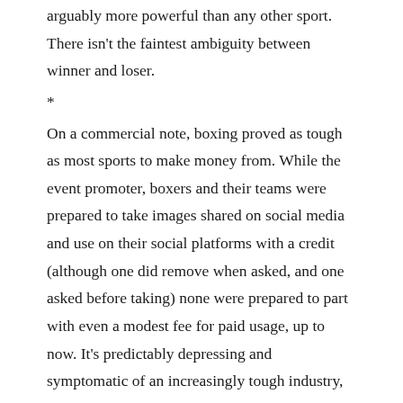arguably more powerful than any other sport. There isn't the faintest ambiguity between winner and loser.
*
On a commercial note, boxing proved as tough as most sports to make money from. While the event promoter, boxers and their teams were prepared to take images shared on social media and use on their social platforms with a credit (although one did remove when asked, and one asked before taking) none were prepared to part with even a modest fee for paid usage, up to now. It's predictably depressing and symptomatic of an increasingly tough industry, and of a world in which professional photography has